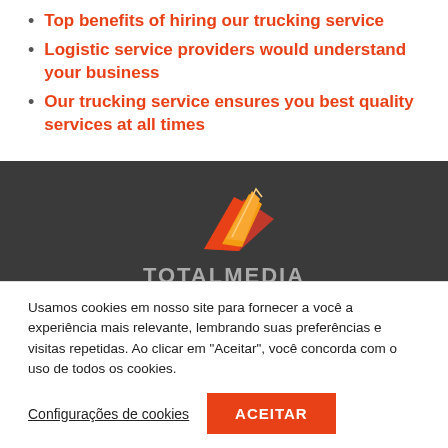Top benefits of hiring our trucking service
Logistic service providers would understand your business
Our trucking service ensures you best quality services at all times
[Figure (logo): TotalMedia Marketing Directo logo with orange/red wing shape above stylized text]
"Somos especialistas na distribuição de folhetos
Usamos cookies em nosso site para fornecer a você a experiência mais relevante, lembrando suas preferências e visitas repetidas. Ao clicar em "Aceitar", você concorda com o uso de todos os cookies.
Configurações de cookies
ACEITAR